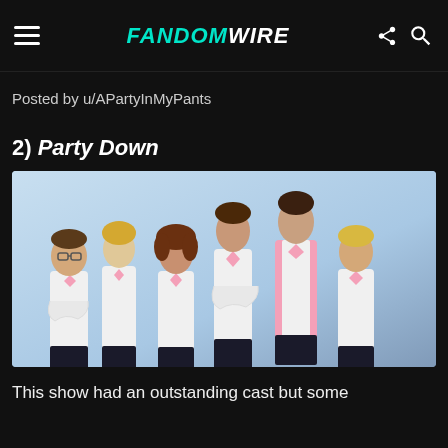FandomWire
Posted by u/APartyInMyPants
2) Party Down
[Figure (photo): Promotional cast photo of Party Down TV show — six cast members in white shirts and pink bow ties/vest standing against a light blue background]
This show had an outstanding cast but some